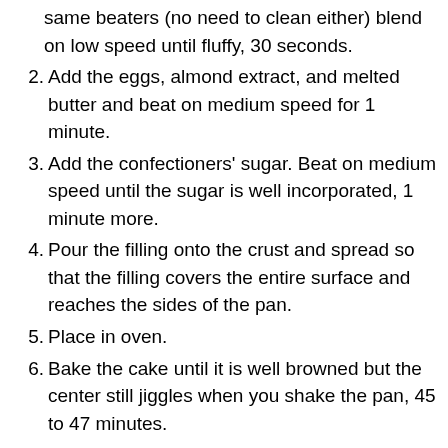same beaters (no need to clean either) blend on low speed until fluffy, 30 seconds.
2. Add the eggs, almond extract, and melted butter and beat on medium speed for 1 minute.
3. Add the confectioners' sugar. Beat on medium speed until the sugar is well incorporated, 1 minute more.
4. Pour the filling onto the crust and spread so that the filling covers the entire surface and reaches the sides of the pan.
5. Place in oven.
6. Bake the cake until it is well browned but the center still jiggles when you shake the pan, 45 to 47 minutes.
7. Remove the pan from the oven and place on wire